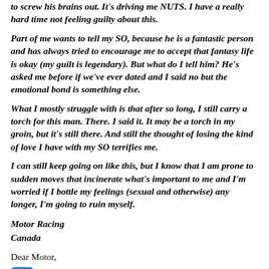to screw his brains out. It's driving me NUTS. I have a really hard time not feeling guilty about this.
Part of me wants to tell my SO, because he is a fantastic person and has always tried to encourage me to accept that fantasy life is okay (my guilt is legendary). But what do I tell him? He's asked me before if we've ever dated and I said no but the emotional bond is something else.
What I mostly struggle with is that after so long, I still carry a torch for this man. There. I said it. It may be a torch in my groin, but it's still there. And still the thought of losing the kind of love I have with my SO terrifies me.
I can still keep going on like this, but I know that I am prone to sudden moves that incinerate what's important to me and I'm worried if I bottle my feelings (sexual and otherwise) any longer, I'm going to ruin myself.
Motor Racing
Canada
Dear Motor,
I definitely wouldn't tell my current lover about my fantasy lover – the man I want more than I want him – unless I wanted to end